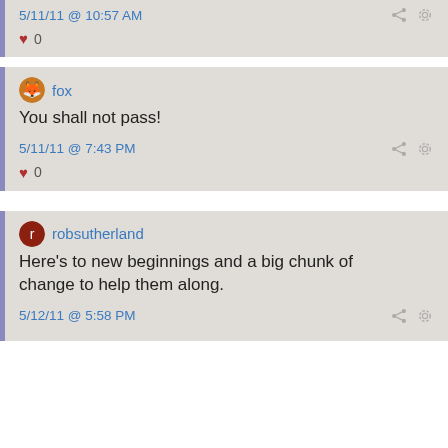5/11/11 @ 10:57 AM
♥ 0
fox
You shall not pass!
5/11/11 @ 7:43 PM
♥ 0
robsutherland
Here's to new beginnings and a big chunk of change to help them along.
5/12/11 @ 5:58 PM